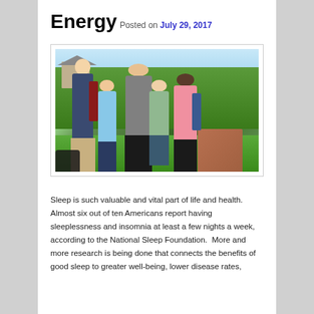Energy
Posted on July 29, 2017
[Figure (photo): Group of five diverse teenagers/young people smiling and posing together outdoors on a sunny day, with green trees and grass in the background. They are carrying backpacks.]
Sleep is such valuable and vital part of life and health. Almost six out of ten Americans report having sleeplessness and insomnia at least a few nights a week, according to the National Sleep Foundation.  More and more research is being done that connects the benefits of good sleep to greater well-being, lower disease rates,